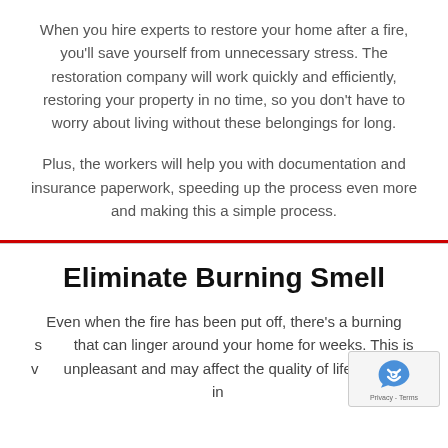When you hire experts to restore your home after a fire, you'll save yourself from unnecessary stress. The restoration company will work quickly and efficiently, restoring your property in no time, so you don't have to worry about living without these belongings for long.
Plus, the workers will help you with documentation and insurance paperwork, speeding up the process even more and making this a simple process.
Eliminate Burning Smell
Even when the fire has been put off, there's a burning smell that can linger around your home for weeks. This is very unpleasant and may affect the quality of life you have in your...